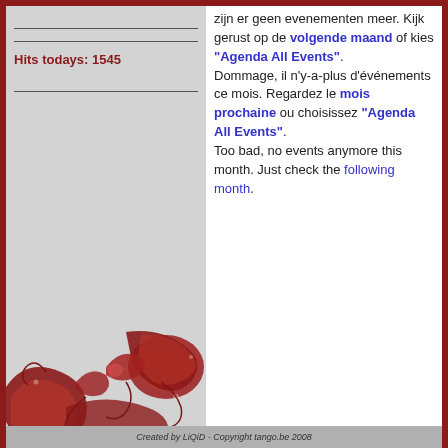Hits todays: 1545
zijn er geen evenementen meer. Kijk gerust op de volgende maand of kies "Agenda All Events". Dommage, il n'y-a-plus d'événements ce mois. Regardez le mois prochaine ou choisissez "Agenda All Events". Too bad, no events anymore this month. Just check the following month.
[Figure (illustration): Decorative red and white baroque/floral ornament pattern at bottom left of the page]
Created by LiQiD - Copyright tango.be 2008